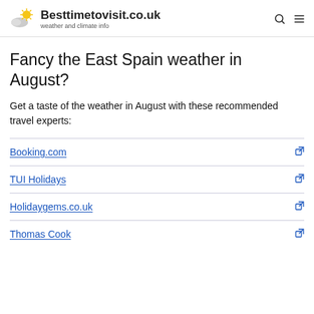Besttimetovisit.co.uk — weather and climate info
Fancy the East Spain weather in August?
Get a taste of the weather in August with these recommended travel experts:
Booking.com
TUI Holidays
Holidaygems.co.uk
Thomas Cook